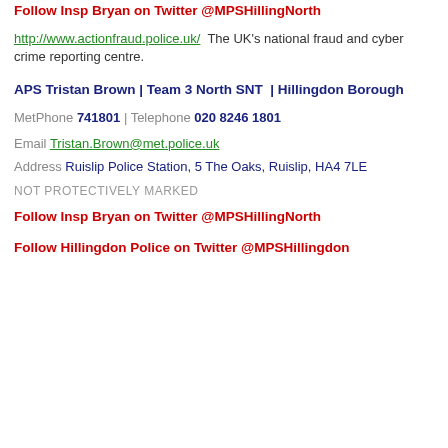Follow Insp Bryan on Twitter @MPSHillingNorth
http://www.actionfraud.police.uk/  The UK's national fraud and cyber crime reporting centre.
APS Tristan Brown | Team 3 North SNT  | Hillingdon Borough
MetPhone 741801 | Telephone 020 8246 1801
Email Tristan.Brown@met.police.uk
Address Ruislip Police Station, 5 The Oaks, Ruislip, HA4 7LE
NOT PROTECTIVELY MARKED
Follow Insp Bryan on Twitter @MPSHillingNorth
Follow Hillingdon Police on Twitter @MPSHillingdon